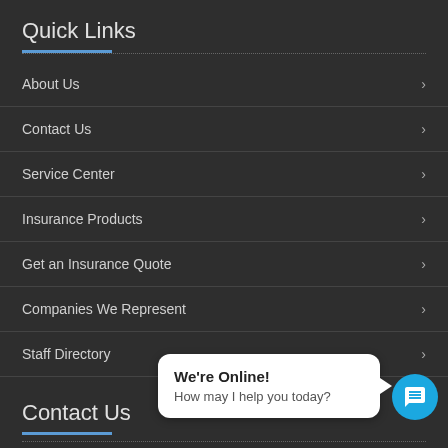Quick Links
About Us
Contact Us
Service Center
Insurance Products
Get an Insurance Quote
Companies We Represent
Staff Directory
Contact Us
We're Online! How may I help you today?